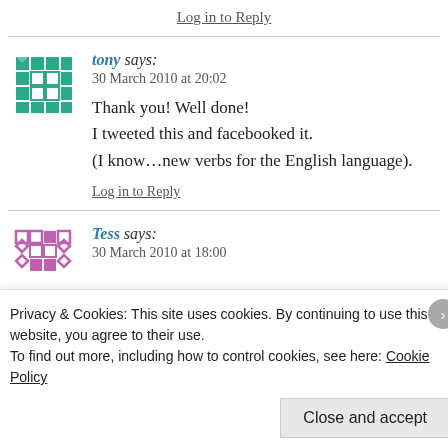Log in to Reply
tony says:
30 March 2010 at 20:02
Thank you! Well done!
I tweeted this and facebooked it.
(I know…new verbs for the English language).
Log in to Reply
Tess says:
30 March 2010 at 18:00
Privacy & Cookies: This site uses cookies. By continuing to use this website, you agree to their use.
To find out more, including how to control cookies, see here: Cookie Policy